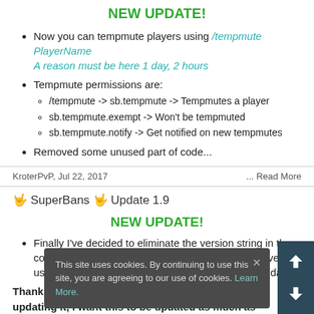NEW UPDATE!
Now you can tempmute players using /tempmute PlayerName A reason must be here 1 day, 2 hours
Tempmute permissions are:
/tempmute -> sb.tempmute -> Tempmutes a player
sb.tempmute.exempt -> Won't be tempmuted
sb.tempmute.notify -> Get notified on new tempmutes
Removed some unused part of code...
KroterPvP, Jul 22, 2017 ... Read More
👟 SuperBans 👟 Update 1.9
NEW UPDATE!
Finally I've decided to eliminate the version string in the configuration section of the skript, since it was not very useful and I never remembered to change wh... updating
Thank you for do... y li... updating it, I want this to be updated as much as possible, so your